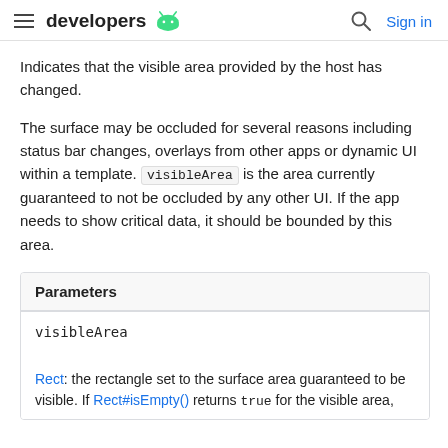developers [android logo] | [search] Sign in
Indicates that the visible area provided by the host has changed.
The surface may be occluded for several reasons including status bar changes, overlays from other apps or dynamic UI within a template. visibleArea is the area currently guaranteed to not be occluded by any other UI. If the app needs to show critical data, it should be bounded by this area.
| Parameters |
| --- |
| visibleArea | Rect: the rectangle set to the surface area guaranteed to be visible. If Rect#isEmpty() returns true for the visible area, |
Rect: the rectangle set to the surface area guaranteed to be visible. If Rect#isEmpty() returns true for the visible area,